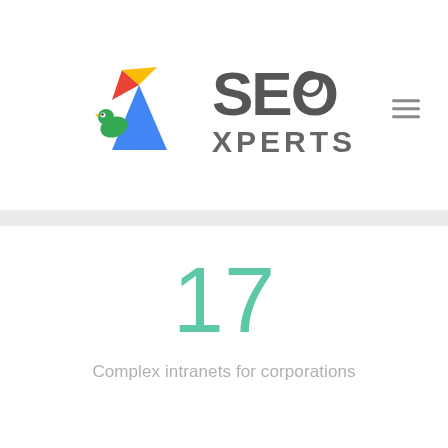[Figure (logo): SEO Xperts logo with colorful mountain/bird icon and SEO XPERTS text in dark gray with hamburger menu icon]
17
Complex intranets for corporations
[Figure (illustration): Light green outline flag icon]